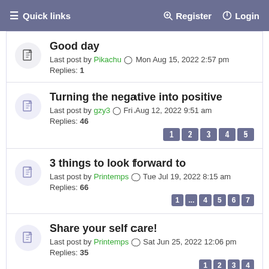≡ Quick links   🔑 Register   ⏻ Login
Good day
Last post by Pikachu ⊙ Mon Aug 15, 2022 2:57 pm
Replies: 1
Turning the negative into positive
Last post by gzy3 ⊙ Fri Aug 12, 2022 9:51 am
Replies: 46
Pages: 1 2 3 4 5
3 things to look forward to
Last post by Printemps ⊙ Tue Jul 19, 2022 8:15 am
Replies: 66
Pages: 1 ... 4 5 6 7
Share your self care!
Last post by Printemps ⊙ Sat Jun 25, 2022 12:06 pm
Replies: 35
Pages: 1 2 3 4